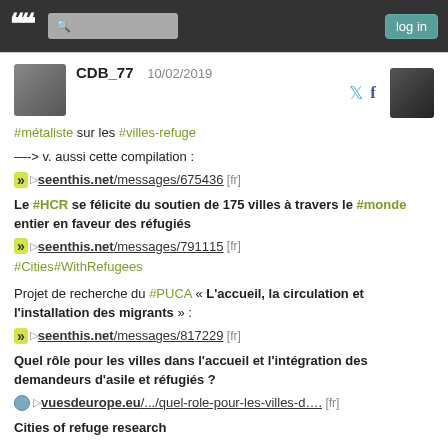navigation bar with quotes logo, search, and log in button
CDB_77  10/02/2019
#métaliste sur les #villes-refuge
—-> v. aussi cette compilation :
▷ seenthis.net/messages/675436 [fr]
Le #HCR se félicite du soutien de 175 villes à travers le #monde entier en faveur des réfugiés
▷ seenthis.net/messages/791115 [fr]
#Cities#WithRefugees
Projet de recherche du #PUCA « L'accueil, la circulation et l'installation des migrants » :
▷ seenthis.net/messages/817229 [fr]
Quel rôle pour les villes dans l'accueil et l'intégration des demandeurs d'asile et réfugiés ?
▷ vuesdeurope.eu/.../quel-role-pour-les-villes-d.... [fr]
Cities of refuge research